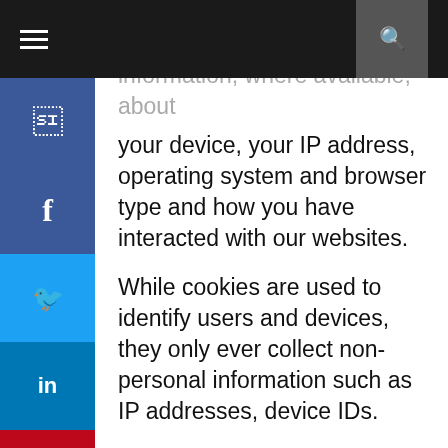information, where available, about your device, your IP address, operating system and browser type and how you have interacted with our websites.
While cookies are used to identify users and devices, they only ever collect non-personal information such as IP addresses, device IDs.
How do we use cookies?
The cookies we use are “analytical”